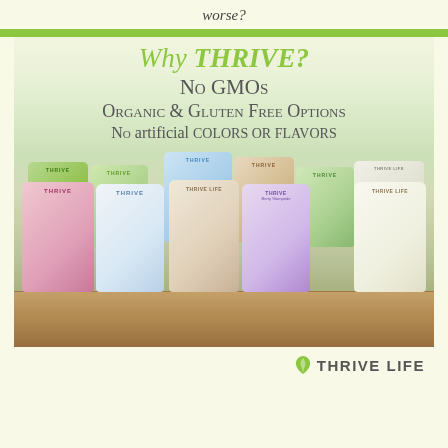worse?
[Figure (photo): Multiple Thrive Life branded food storage cans arranged in two rows on a wooden surface, showing various colorful products including green, blue, pink, lavender and white cans with fruit and vegetable imagery]
Why THRIVE?
No GMOs
Organic & Gluten Free Options
No artificial colors or flavors
[Figure (logo): THRIVE LIFE logo with leaf icon]